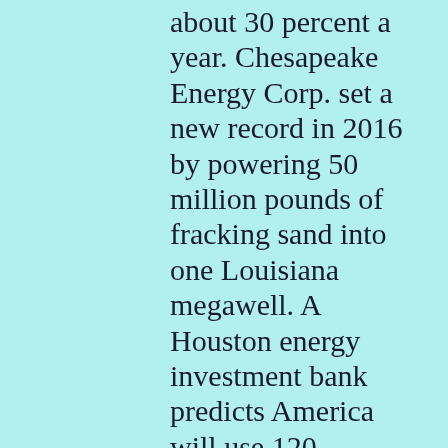about 30 percent a year. Chesapeake Energy Corp. set a new record in 2016 by powering 50 million pounds of fracking sand into one Louisiana megawell. A Houston energy investment bank predicts America will use 120 million tons of fracking sand by next year—double the volume of 2014.